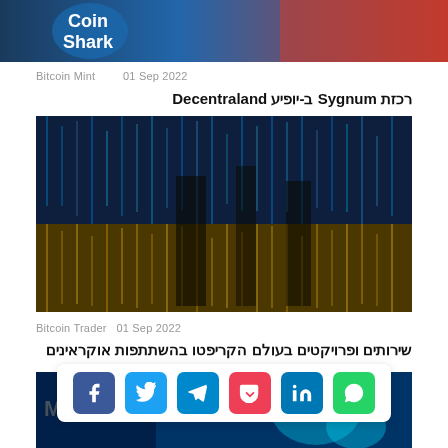[Figure (photo): Top cropped image showing Coin Shark logo with blue background and basketball imagery]
Bitcoin Mint   01 Sep 2022
רכזת Sygnum ב-יופיע Decentraland
[Figure (photo): Digital matrix/code rain image styled as Ukrainian flag with blue and yellow colors]
Bitcoin Trader   01 Sep 2022
שירותים ופרויקטים בעולם הקריפטו בהשתתפות אוקראינים
[Figure (photo): Bottom article image partially visible with blue background and MYGO text]
[Figure (infographic): Social share bar with Facebook, Twitter, Telegram, Pocket, LinkedIn, WhatsApp icons]